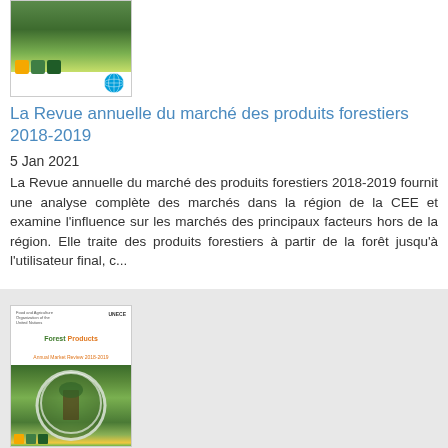[Figure (illustration): Book cover thumbnail showing forest scene with SDG icons and UN logo]
La Revue annuelle du marché des produits forestiers 2018-2019
5 Jan 2021
La Revue annuelle du marché des produits forestiers 2018-2019 fournit une analyse complète des marchés dans la région de la CEE et examine l'influence sur les marchés des principaux facteurs hors de la région. Elle traite des produits forestiers à partir de la forêt jusqu'à l'utilisateur final, c...
[Figure (illustration): Second book cover thumbnail: Forest Products Annual Market Review 2018-2019 with forest photo and SDG icons]